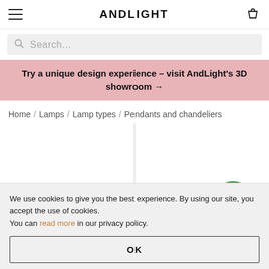ANDLIGHT
Search...
Try a unique design experience - visit AndLight's 3D showroom →
Home / Lamps / Lamp types / Pendants and chandeliers
[Figure (screenshot): Partial product listing page showing a vertical divider line and a green dome-shaped pendant lamp partially visible at bottom right]
We use cookies to give you the best experience. By using our site, you accept the use of cookies. You can read more in our privacy policy.
OK